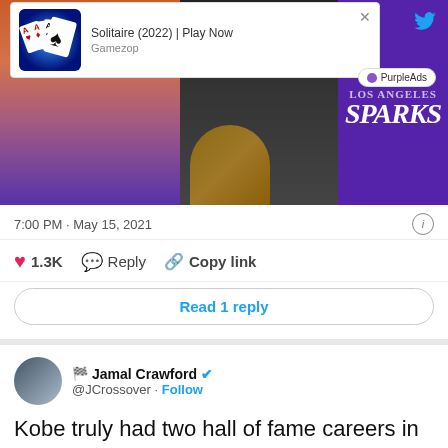[Figure (screenshot): Advertisement overlay showing Solitaire (2022) | Play Now by Gamezop with card game icon, over a photo of people at an LA Sparks event. PurpleAds badge visible.]
7:00 PM · May 15, 2021
1.3K   Reply   Copy link
Read 1 reply
🏁 Jamal Crawford ✓ @JCrossover · Follow
Kobe truly had two hall of fame careers in